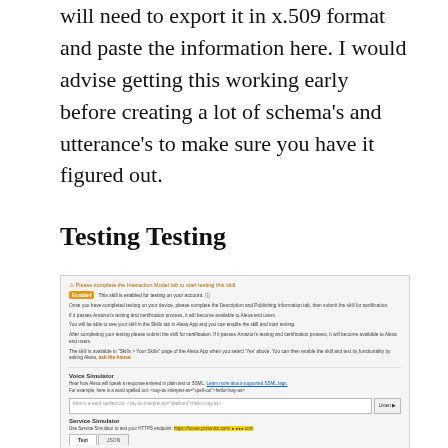will need to export it in x.509 format and paste the information here. I would advise getting this working early before creating a lot of schema's and utterance's to make sure you have it figured out.
Testing Testing
[Figure (screenshot): Screenshot of an Amazon Alexa skill developer console showing the Testing tab. It includes an 'Enabled' badge indicating the skill is enabled for testing on the account, instructional text about completing testing and submitting for certification, a Voice Simulator section with a text input and Listen button, and a Service Simulator section showing an HTTPS endpoint URL with Test and JSON tabs.]